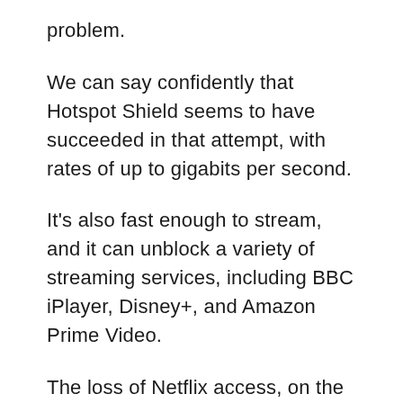problem.
We can say confidently that Hotspot Shield seems to have succeeded in that attempt, with rates of up to gigabits per second.
It's also fast enough to stream, and it can unblock a variety of streaming services, including BBC iPlayer, Disney+, and Amazon Prime Video.
The loss of Netflix access, on the other hand, is a significant disadvantage.